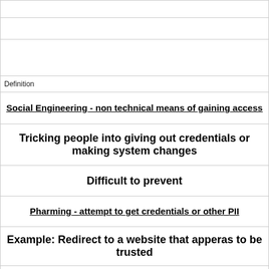|  |
|  |
|  |
| Definition |
| Social Engineering - non technical means of gaining access |
| Tricking people into giving out credentials or making system changes |
| Difficult to prevent |
| Pharming - attempt to get credentials or other PII |
| Example: Redirect to a website that apperas to be trusted |
| Vishing (v=voice) - direct user to call a number |
| Keylogger - software or hardware that collects keystrokes |